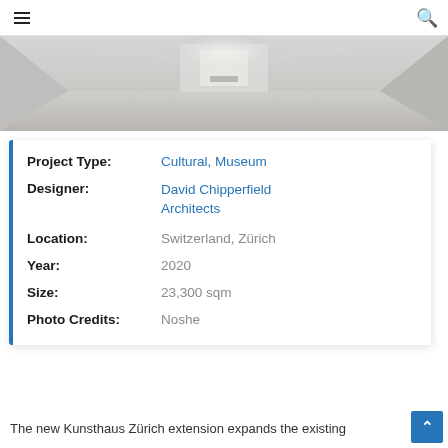☰  🔍
[Figure (photo): Interior hallway of a museum with polished stone floor, bright light at the end of the corridor, white walls — perspective view.]
| Project Type: | Cultural, Museum |
| Designer: | David Chipperfield Architects |
| Location: | Switzerland, Zürich |
| Year: | 2020 |
| Size: | 23,300 sqm |
| Photo Credits: | Noshe |
The new Kunsthaus Zürich extension expands the existing